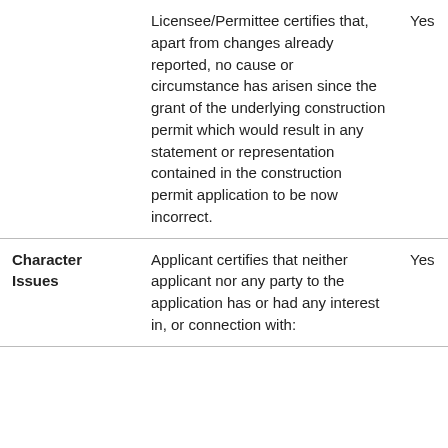|  | Description |  |
| --- | --- | --- |
|  | Licensee/Permittee certifies that, apart from changes already reported, no cause or circumstance has arisen since the grant of the underlying construction permit which would result in any statement or representation contained in the construction permit application to be now incorrect. | Yes |
| Character Issues | Applicant certifies that neither applicant nor any party to the application has or had any interest in, or connection with: | Yes |